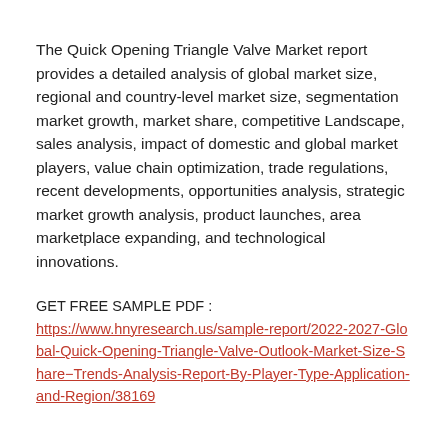The Quick Opening Triangle Valve Market report provides a detailed analysis of global market size, regional and country-level market size, segmentation market growth, market share, competitive Landscape, sales analysis, impact of domestic and global market players, value chain optimization, trade regulations, recent developments, opportunities analysis, strategic market growth analysis, product launches, area marketplace expanding, and technological innovations.
GET FREE SAMPLE PDF : https://www.hnyresearch.us/sample-report/2022-2027-Global-Quick-Opening-Triangle-Valve-Outlook-Market-Size-Share−Trends-Analysis-Report-By-Player-Type-Application-and-Region/38169